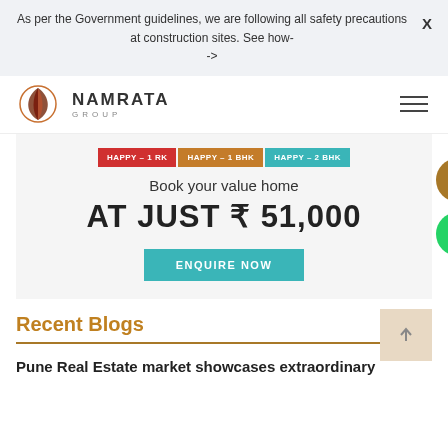As per the Government guidelines, we are following all safety precautions at construction sites. See how- ->
[Figure (logo): Namrata Group logo with stylized leaf/feather icon and text NAMRATA GROUP]
[Figure (infographic): Promotional banner: HAPPY-1RK, HAPPY-1BHK, HAPPY-2BHK badges; Book your value home AT JUST ₹ 51,000; ENQUIRE NOW button]
Recent Blogs
Pune Real Estate market showcases extraordinary